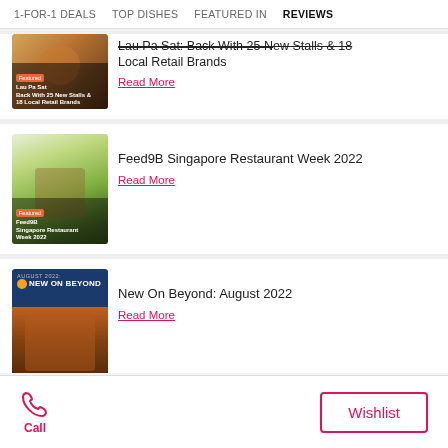1-FOR-1 DEALS  TOP DISHES  FEATURED IN  REVIEWS
[Figure (photo): Thumbnail image of Lau Pa Sat food stalls with orange and featured tag overlay]
Lau Pa Sat: Back With 25 New Stalls & 18 Local Retail Brands
Read More
[Figure (photo): Thumbnail image of Feed9B Singapore Restaurant Week 2022 with green food photography]
Feed9B Singapore Restaurant Week 2022
Read More
[Figure (photo): Thumbnail image of New On Beyond August 2022 with seafood spread on dark blue background]
New On Beyond: August 2022
Read More
[Figure (photo): Thumbnail image of New On Beyond July 2022 on dark blue background, partially visible]
Call  Wishlist